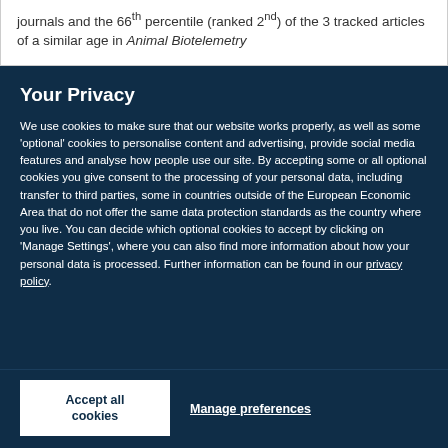journals and the 66th percentile (ranked 2nd) of the 3 tracked articles of a similar age in Animal Biotelemetry
Your Privacy
We use cookies to make sure that our website works properly, as well as some 'optional' cookies to personalise content and advertising, provide social media features and analyse how people use our site. By accepting some or all optional cookies you give consent to the processing of your personal data, including transfer to third parties, some in countries outside of the European Economic Area that do not offer the same data protection standards as the country where you live. You can decide which optional cookies to accept by clicking on 'Manage Settings', where you can also find more information about how your personal data is processed. Further information can be found in our privacy policy.
Accept all cookies
Manage preferences